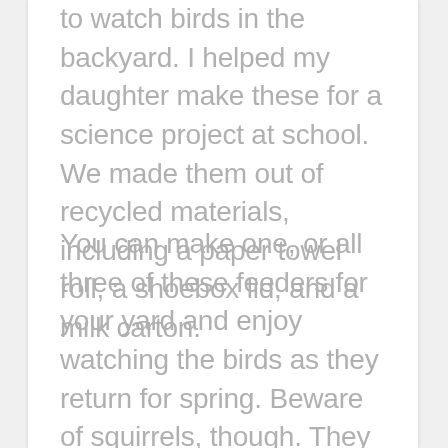to watch birds in the backyard. I helped my daughter make these for a science project at school. We made them out of recycled materials, including a paper towel roll, a shoebox lid, and a milk carton.
You can make one, or all three of these feeders for your yard and enjoy watching the birds as they return for spring. Beware of squirrels, though. They seem to like the bird feed as much as the birds do, sometimes knocking down the feeders trying to get at the food! But the